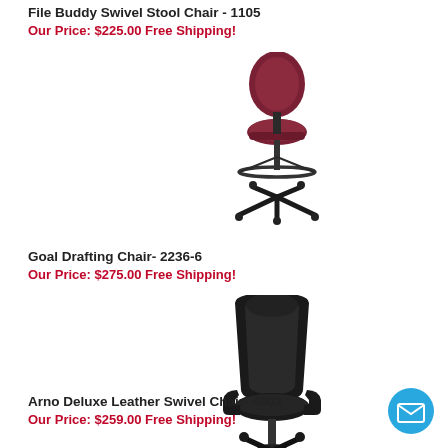File Buddy Swivel Stool Chair - 1105
Our Price: $225.00 Free Shipping!
[Figure (photo): Burgundy/maroon drafting stool chair with backrest, footring, and black five-star base with casters]
Goal Drafting Chair- 2236-6
Our Price: $275.00 Free Shipping!
[Figure (photo): Black leather executive swivel chair with padded armrests and five-star base with casters]
Arno Deluxe Leather Swivel Chair- 4003
Our Price: $259.00 Free Shipping!